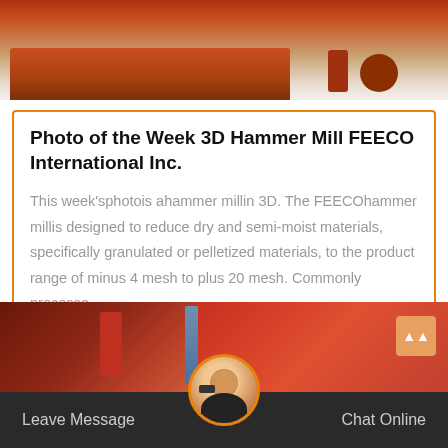[Figure (photo): Top portion of industrial hammer mill machinery, orange/red metal equipment on white surface]
Photo of the Week 3D Hammer Mill FEECO International Inc.
This week’sphotois ahammer millin 3D. The FEECOhammer millis designed to reduce dry and semi-moist materials, specifically granulated or pelletized materials, to the product range of minus 4 mesh to plus 20 mesh. Commonly processe…
[Figure (photo): Bottom partial photo of industrial machinery with orange/red and blue metal components]
Leave Message   Chat Online